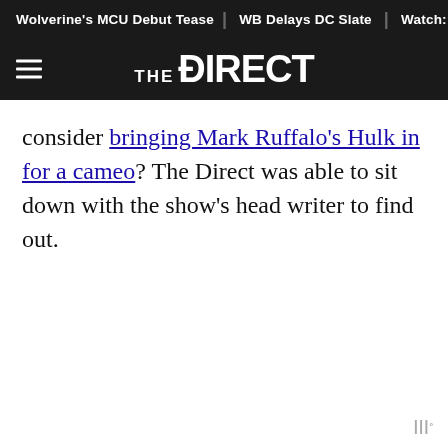Wolverine's MCU Debut Tease | WB Delays DC Slate | Watch: First
[Figure (logo): The Direct logo — hamburger menu icon on left, THE DIRECT wordmark in white on dark background]
consider bringing Mark Ruffalo's Hulk in for a cameo? The Direct was able to sit down with the show's head writer to find out.